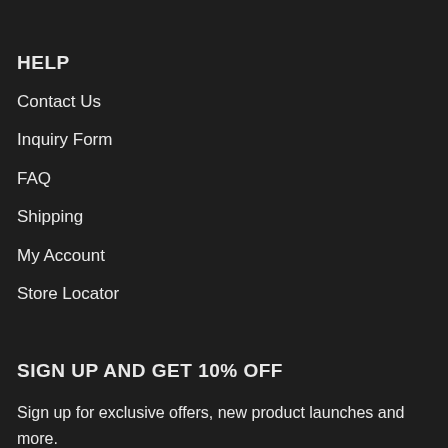HELP
Contact Us
Inquiry Form
FAQ
Shipping
My Account
Store Locator
SIGN UP AND GET 10% OFF
Sign up for exclusive offers, new product launches and more.